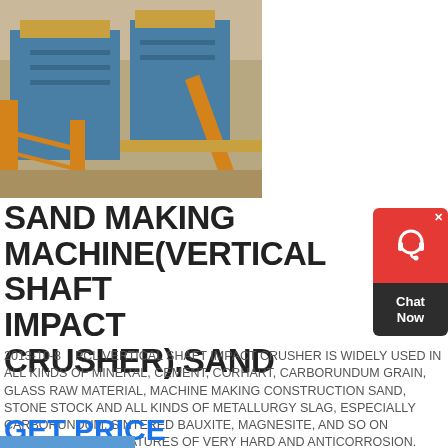[Figure (photo): Industrial sand making machine / vertical shaft impact crusher with blue metal housing and yellow scaffold structure]
SAND MAKING MACHINE(VERTICAL SHAFT IMPACT CRUSHER),SAND
2013-10-8    PCL VERTICAL SHAFT IMPACT CRUSHER IS WIDELY USED IN ALL KINDS OF MINERAL, CEMENT, CORHART, CARBORUNDUM GRAIN, GLASS RAW MATERIAL, MACHINE MAKING CONSTRUCTION SAND, STONE STOCK AND ALL KINDS OF METALLURGY SLAG, ESPECIALLY CARBORUNDUM, SINTERED BAUXITE, MAGNESITE, AND SO ON MATERIALS WITH FEATURES OF VERY HARD AND ANTICORROSION.
GET PRICE